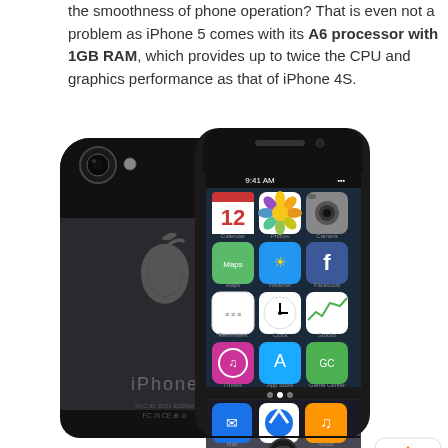the smoothness of phone operation? That is even not a problem as iPhone 5 comes with its A6 processor with 1GB RAM, which provides up to twice the CPU and graphics performance as that of iPhone 4S.
[Figure (photo): Photo of iPhone 5 showing the back (black/slate color with Apple logo and 'iPhone' text) and front (screen showing iOS home screen with apps: Calendar showing 12, Photos, Camera, Maps, Weather, Facebook, Reminders, Clock, Stocks, iTunes, App Store, Game Center, and dock with Mail, Safari, Music). Time shown is 9:41 AM. A 'TOP' navigation button with a sailboat icon is visible in the lower right.]